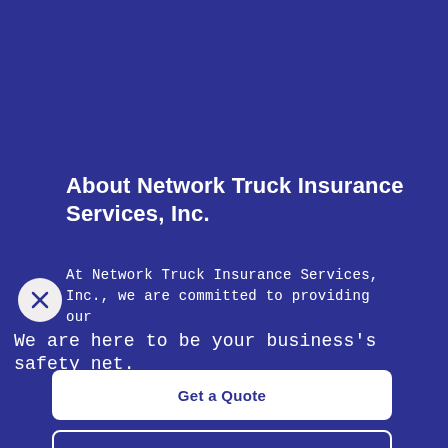About Network Truck Insurance Services, Inc.
At Network Truck Insurance Services, Inc., we are committed to providing our
We are here to be your business's safety net.
Get a Quote
Contact Us